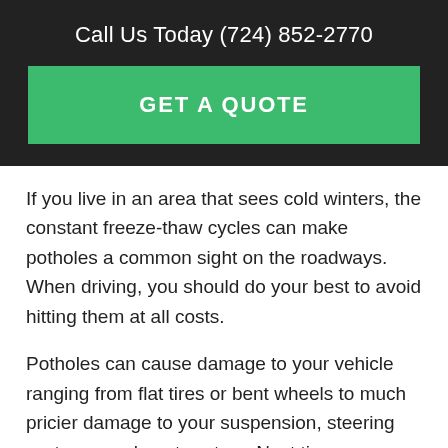Call Us Today (724) 852-2770
GET A QUOTE
If you live in an area that sees cold winters, the constant freeze-thaw cycles can make potholes a common sight on the roadways. When driving, you should do your best to avoid hitting them at all costs.
Potholes can cause damage to your vehicle ranging from flat tires or bent wheels to much pricier damage to your suspension, steering system or exhaust system. Next time you encounter a pothole, try to swerve around it. If swerving isn't possible, reduce your speed to lessen the impact—and any potential damage.